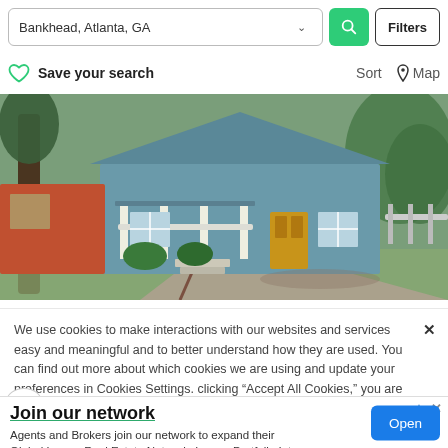Bankhead, Atlanta, GA — search bar with Filters button
Save your search   Sort   Map
[Figure (photo): Exterior photo of a blue/green craftsman bungalow with white porch railings, a yellow front door, and a gravel driveway. Trees are visible on both sides.]
We use cookies to make interactions with our websites and services easy and meaningful and to better understand how they are used. You can find out more about which cookies we are using and update your preferences in Cookies Settings. clicking "Accept All Cookies," you are agreeing to our use
Join our network
Agents and Brokers join our network to expand their Global Luxury Real Estate Network. Luxury Portfolio Int.
Open